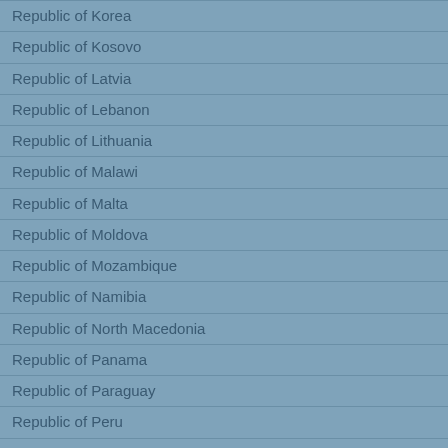Republic of Korea
Republic of Kosovo
Republic of Latvia
Republic of Lebanon
Republic of Lithuania
Republic of Malawi
Republic of Malta
Republic of Moldova
Republic of Mozambique
Republic of Namibia
Republic of North Macedonia
Republic of Panama
Republic of Paraguay
Republic of Peru
Republic of Poland
Republic of Rwanda
Republic of Serbia
Republic of Seychelles
Republic of Singapore
Republic of Slovenia
Republic of South Africa
Republic of Tajikistan
Republic of the Ivory Coast
Republic of the Phili...